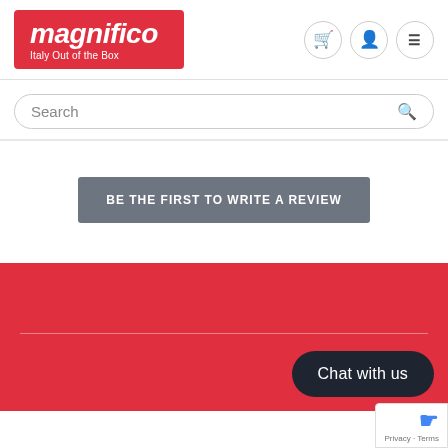[Figure (logo): Magnifico logo - red background with white italic text 'magnifico' and tagline 'Italy Out of the Box']
Search
BE THE FIRST TO WRITE A REVIEW
[Figure (other): Red footer section with horizontal divider line]
Chat with us
Privacy · Terms